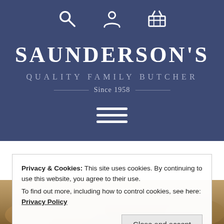[Figure (logo): Saunderson's Quality Family Butcher logo with navigation icons (search, user, basket) and hamburger menu on dark blue background. Logo text reads SAUNDERSON'S / QUALITY FAMILY BUTCHER / Since 1958]
Privacy & Cookies: This site uses cookies. By continuing to use this website, you agree to their use.
To find out more, including how to control cookies, see here: Privacy Policy
Close and accept